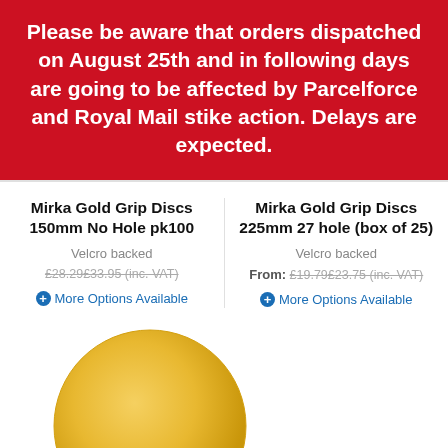Please be aware that orders dispatched on August 25th and in following days are going to be affected by Parcelforce and Royal Mail stike action. Delays are expected.
Mirka Gold Grip Discs 150mm No Hole pk100
Velcro backed
£28.29£33.95 (inc. VAT)
More Options Available
Mirka Gold Grip Discs 225mm 27 hole (box of 25)
Velcro backed
From: £19.79£23.75 (inc. VAT)
More Options Available
[Figure (photo): A circular gold/yellow abrasive sanding disc (Mirka Gold Grip Disc) shown from above on a white background.]